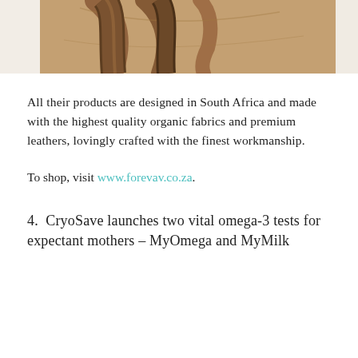[Figure (photo): Close-up photograph of brown leather bag handles and straps against a white background]
All their products are designed in South Africa and made with the highest quality organic fabrics and premium leathers, lovingly crafted with the finest workmanship.
To shop, visit www.forevav.co.za.
4.  CryoSave launches two vital omega-3 tests for expectant mothers – MyOmega and MyMilk